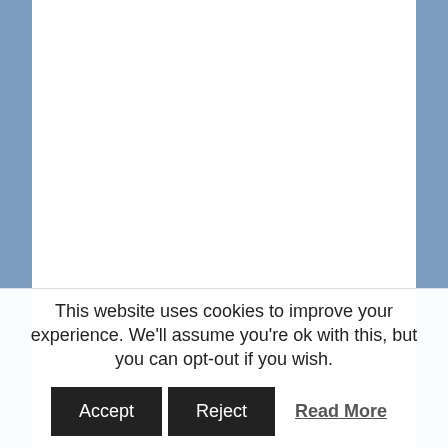After two years spent collecting recordings, training local volunteers, and having parties, the island's oral history project has now concluded. We dearly hope to be able to launch a phase two later in the year, but meanwhile, there is lots of the collection to explore! This glorious CD of recordings from the Jura Lives Project is available now, from the Service
This website uses cookies to improve your experience. We'll assume you're ok with this, but you can opt-out if you wish.